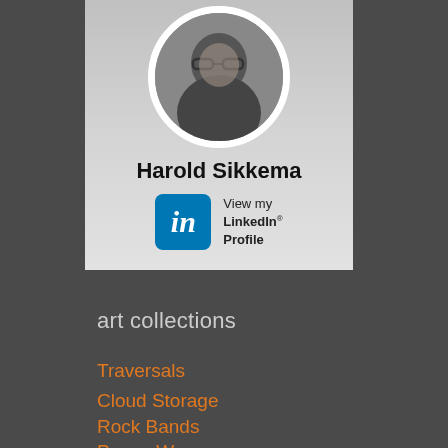[Figure (photo): LinkedIn profile card for Harold Sikkema with circular profile photo, name, and LinkedIn logo with 'View my LinkedIn Profile' text]
Harold Sikkema
View my LinkedIn® Profile
art collections
Traversals
Cloud Storage
Rock Bands
Peace Weave